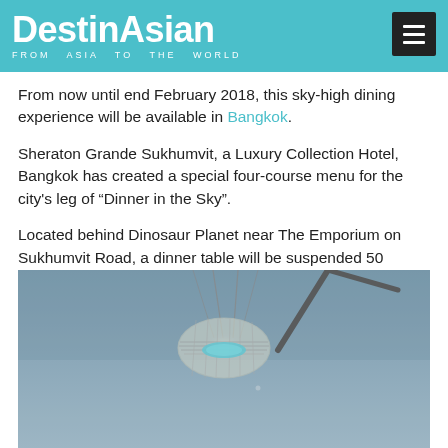DestinAsian FROM ASIA TO THE WORLD
From now until end February 2018, this sky-high dining experience will be available in Bangkok.
Sheraton Grande Sukhumvit, a Luxury Collection Hotel, Bangkok has created a special four-course menu for the city's leg of “Dinner in the Sky”.
Located behind Dinosaur Planet near The Emporium on Sukhumvit Road, a dinner table will be suspended 50 meters above the ground by a 200-tonne European telescopic boom crane.
[Figure (photo): Aerial photograph showing a dinner table suspended high in the air by a crane, viewed from below against a gray sky. The table appears as a small illuminated structure with a blue accent.]